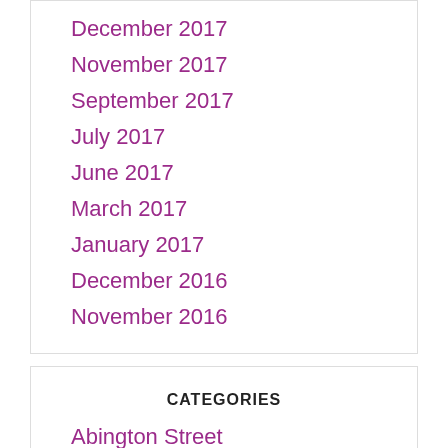December 2017
November 2017
September 2017
July 2017
June 2017
March 2017
January 2017
December 2016
November 2016
CATEGORIES
Abington Street
BID Event
BID Renewal